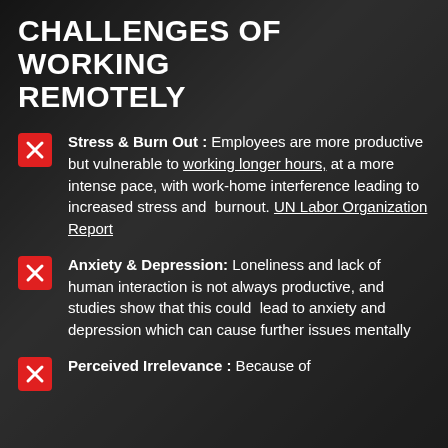CHALLENGES OF WORKING REMOTELY
Stress & Burn Out : Employees are more productive but vulnerable to working longer hours, at a more intense pace, with work-home interference leading to increased stress and burnout. UN Labor Organization Report
Anxiety & Depression: Loneliness and lack of human interaction is not always productive, and studies show that this could lead to anxiety and depression which can cause further issues mentally
Perceived Irrelevance : Because of